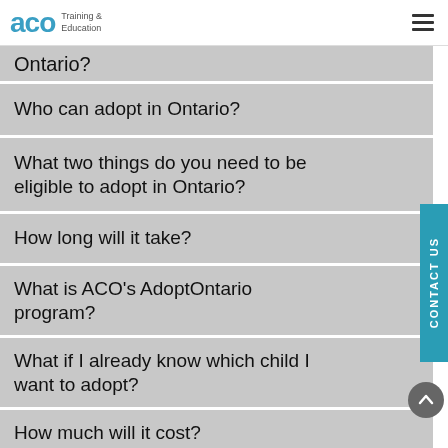ACO Training & Education
Ontario?
Who can adopt in Ontario?
What two things do you need to be eligible to adopt in Ontario?
How long will it take?
What is ACO's AdoptOntario program?
What if I already know which child I want to adopt?
How much will it cost?